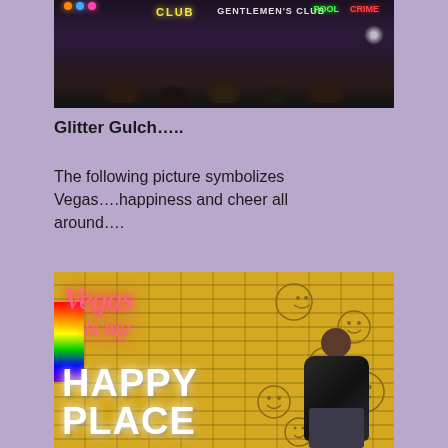[Figure (photo): Night scene at Glitter Gulch, Las Vegas, showing neon signs including 'CLUB' and 'GENTLEMEN'S CLUB' with crowds of people below and colorful lights.]
Glitter Gulch…..
The following picture symbolizes Vegas….happiness and cheer all around….
[Figure (photo): Woman standing in front of a yellow brick wall with neon sign reading 'Vegas is my' in pink cursive and large white illuminated letters spelling 'HAPPY PLACE'. A rainbow is visible on the left side and smiley faces are drawn on the brick wall.]